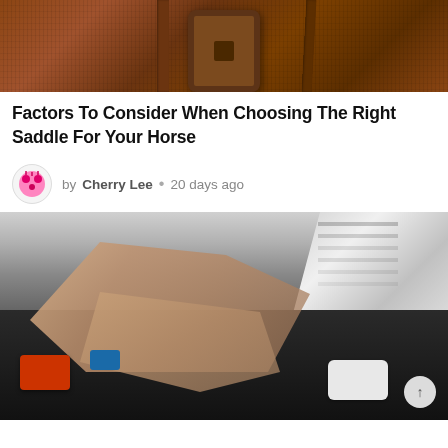[Figure (photo): Close-up photo of a horse saddle with brown leather straps and buckles on chestnut horse fur]
Factors To Consider When Choosing The Right Saddle For Your Horse
by Cherry Lee • 20 days ago
[Figure (photo): Photo of a mechanic's hands working on a car engine compartment with various engine parts visible]